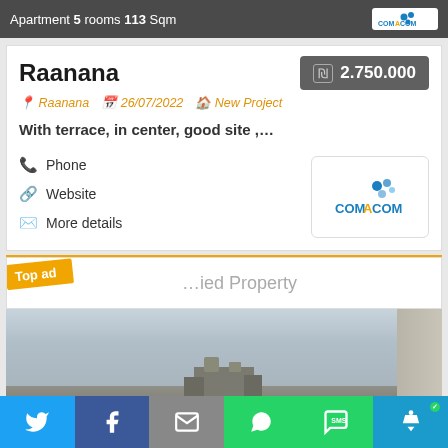Apartment 5 rooms 113 Sqm
Raanana
₪ 2.750.000
Raanana  26/07/2022  New Project
With terrace, in center, good site ,…
Phone
Website
More details
[Figure (logo): COMACOM agency logo with blue pixel/dot graphic above text]
Top ad
…ied Property
[Figure (photo): Exterior photo of property showing sky and building silhouette]
[Figure (infographic): Social share bar with Twitter, Facebook, Email, WhatsApp, SMS, Accessibility icons]